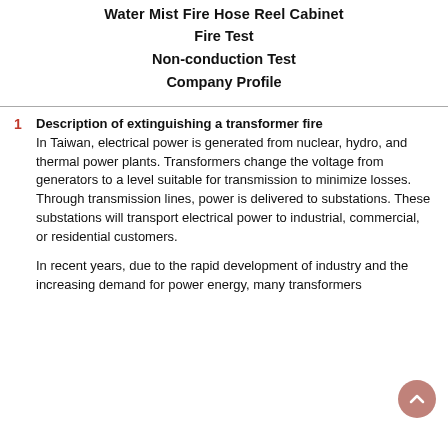Water Mist Fire Hose Reel Cabinet
Fire Test
Non-conduction Test
Company Profile
1  Description of extinguishing a transformer fire
In Taiwan, electrical power is generated from nuclear, hydro, and thermal power plants. Transformers change the voltage from generators to a level suitable for transmission to minimize losses. Through transmission lines, power is delivered to substations. These substations will transport electrical power to industrial, commercial, or residential customers.
In recent years, due to the rapid development of industry and the increasing demand for power energy, many transformers